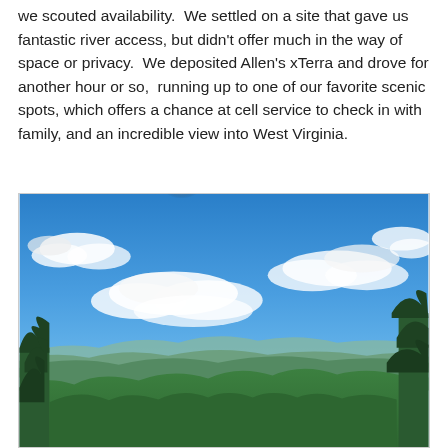we scouted availability.  We settled on a site that gave us fantastic river access, but didn't offer much in the way of space or privacy.  We deposited Allen's xTerra and drove for another hour or so,  running up to one of our favorite scenic spots, which offers a chance at cell service to check in with family, and an incredible view into West Virginia.
[Figure (photo): Panoramic scenic overlook photograph showing a wide view into West Virginia with rolling forested mountains in the middle distance, bright blue sky with scattered white clouds, green tree canopy in the foreground left and right, taken on a sunny day.]